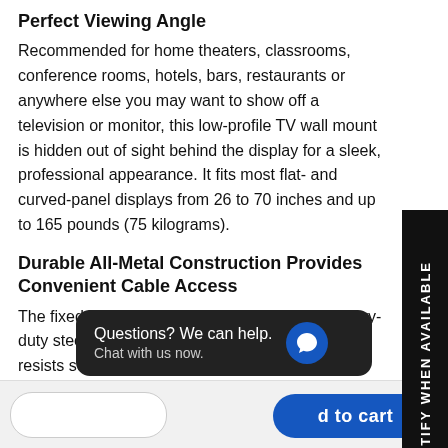Perfect Viewing Angle
Recommended for home theaters, classrooms, conference rooms, hotels, bars, restaurants or anywhere else you may want to show off a television or monitor, this low-profile TV wall mount is hidden out of sight behind the display for a sleek, professional appearance. It fits most flat- and curved-panel displays from 26 to 70 inches and up to 165 pounds (75 kilograms).
Durable All-Metal Construction Provides Convenient Cable Access
The fixed TV wall mount is constructed from heavy-duty steel with a powder-coated black finish that resists scratches. Its open frame design with smooth edges enables easy access to cables. Horizontal mounting rails adjust to compensate for off-center wall studs. A built-in bubble level helps ensure your